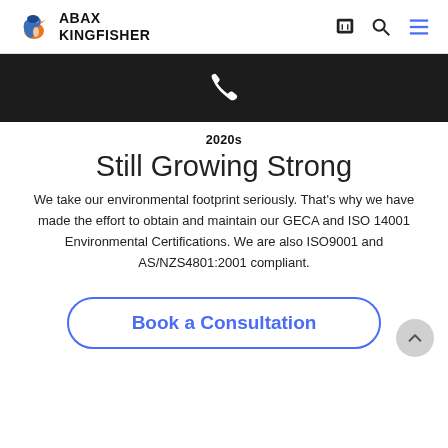ABAX KINGFISHER
[Figure (illustration): Black banner with white phone icon]
2020s
Still Growing Strong
We take our environmental footprint seriously. That's why we have made the effort to obtain and maintain our GECA and ISO 14001 Environmental Certifications. We are also ISO9001 and AS/NZS4801:2001 compliant.
Book a Consultation